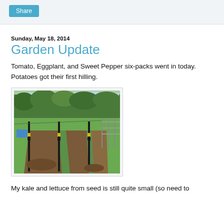Share
Sunday, May 18, 2014
Garden Update
Tomato, Eggplant, and Sweet Pepper six-packs went in today. Potatoes got their first hilling.
[Figure (photo): A garden plot with rows of tilled soil surrounded by green grass. Black metal posts are visible along the rows. Trees are visible in the background along with a fence on the right side.]
My kale and lettuce from seed is still quite small (so need to